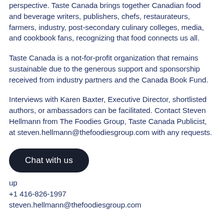perspective. Taste Canada brings together Canadian food and beverage writers, publishers, chefs, restaurateurs, farmers, industry, post-secondary culinary colleges, media, and cookbook fans, recognizing that food connects us all.
Taste Canada is a not-for-profit organization that remains sustainable due to the generous support and sponsorship received from industry partners and the Canada Book Fund.
Interviews with Karen Baxter, Executive Director, shortlisted authors, or ambassadors can be facilitated. Contact Steven Hellmann from The Foodies Group, Taste Canada Publicist, at steven.hellmann@thefoodiesgroup.com with any requests.
Chat with us
up
+1 416-826-1997
steven.hellmann@thefoodiesgroup.com